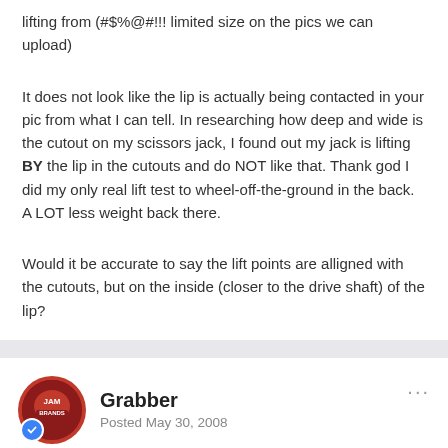lifting from (#$%@#!!! limited size on the pics we can upload)
It does not look like the lip is actually being contacted in your pic from what I can tell. In researching how deep and wide is the cutout on my scissors jack, I found out my jack is lifting BY the lip in the cutouts and do NOT like that. Thank god I did my only real lift test to wheel-off-the-ground in the back. A LOT less weight back there.
Would it be accurate to say the lift points are alligned with the cutouts, but on the inside (closer to the drive shaft) of the lip?
Grabber
Posted May 30, 2008
skiph said: